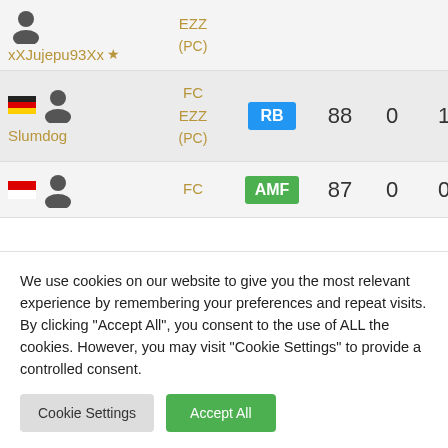| Player | Team | Position | Rating | Col1 | Col2 |
| --- | --- | --- | --- | --- | --- |
| xXJujepu93Xx★ | EZZ (PC) |  |  |  |  |
| Slumdog (DE) | FC EZZ (PC) | RB | 88 | 0 | 1 |
| (ID) | FC | AMF | 87 | 0 | 0 |
We use cookies on our website to give you the most relevant experience by remembering your preferences and repeat visits. By clicking "Accept All", you consent to the use of ALL the cookies. However, you may visit "Cookie Settings" to provide a controlled consent.